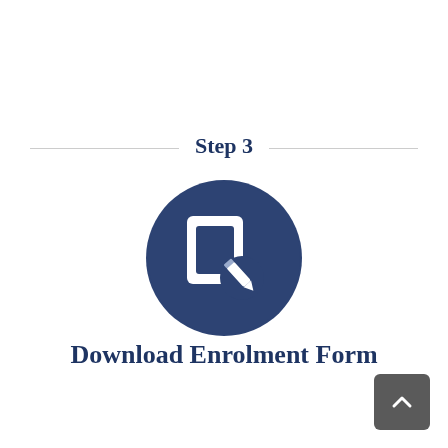Step 3
[Figure (illustration): Dark blue circle icon containing a white edit/form icon (square with pencil overlay)]
Download Enrolment Form
[Figure (other): Back to top button — dark grey rounded rectangle with white upward chevron arrow]